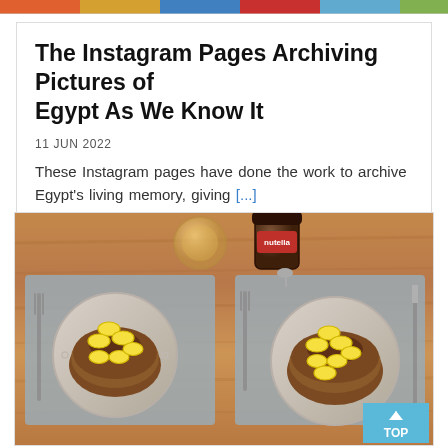[Figure (screenshot): Colorful top banner strip with partial images of various scenes]
The Instagram Pages Archiving Pictures of Egypt As We Know It
11 JUN 2022
These Instagram pages have done the work to archive Egypt's living memory, giving [...]
[Figure (photo): Overhead flat-lay photo of two place settings on a wooden table, each with a plate of chocolate pancakes topped with banana slices, forks and a knife, two gray placemats, a jar of Nutella, and a glass jar with honey in the center top.]